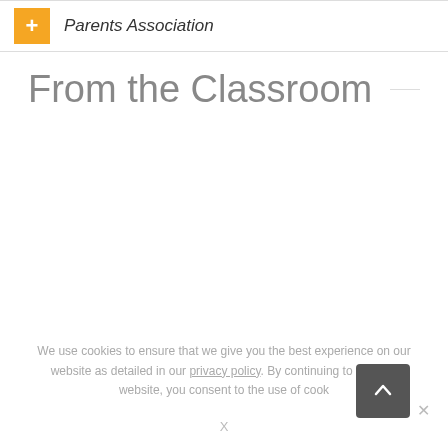+ Parents Association
From the Classroom
We use cookies to ensure that we give you the best experience on our website as detailed in our privacy policy. By continuing to use this website, you consent to the use of cookies.
X